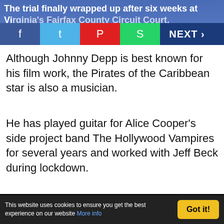The trial finally wrapped up after six weeks at Virginia's Fairfax County Circuit Court. NEXT >
Although Johnny Depp is best known for his film work, the Pirates of the Caribbean star is also a musician.
He has played guitar for Alice Cooper's side project band The Hollywood Vampires for several years and worked with Jeff Beck during lockdown.
[Figure (photo): Video thumbnail showing two performers on stage with purple/magenta lighting. A blue circular play button is overlaid in the center.]
This website uses cookies to ensure you get the best experience on our website More info   Got it!